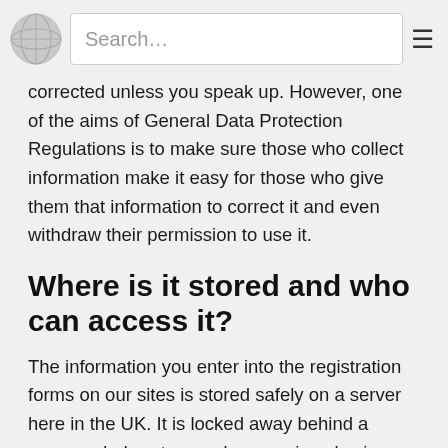Search…
corrected unless you speak up. However, one of the aims of General Data Protection Regulations is to make sure those who collect information make it easy for those who give them that information to correct it and even withdraw their permission to use it.
Where is it stored and who can access it?
The information you enter into the registration forms on our sites is stored safely on a server here in the UK. It is locked away behind a passworded system and access is only given when necessary. Occasionally it is necessary to allow a contractor into the area where the data is stored. In that situation,